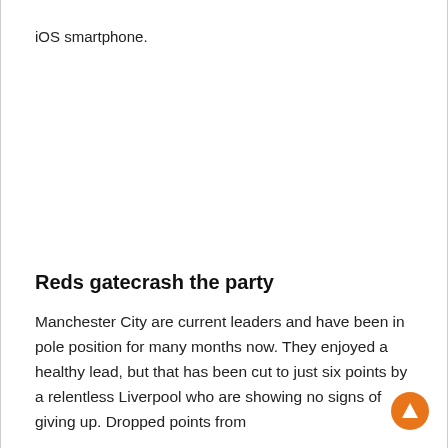iOS smartphone.
Reds gatecrash the party
Manchester City are current leaders and have been in pole position for many months now. They enjoyed a healthy lead, but that has been cut to just six points by a relentless Liverpool who are showing no signs of giving up. Dropped points from